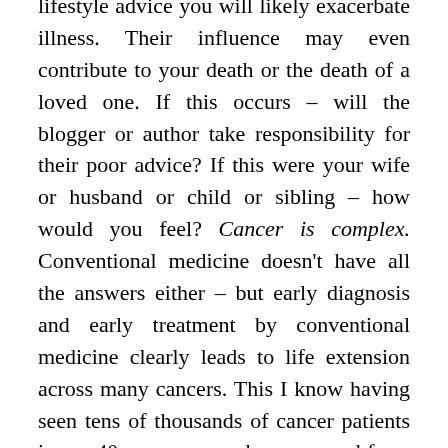lifestyle advice you will likely exacerbate illness. Their influence may even contribute to your death or the death of a loved one. If this occurs – will the blogger or author take responsibility for their poor advice? If this were your wife or husband or child or sibling – how would you feel? Cancer is complex. Conventional medicine doesn't have all the answers either – but early diagnosis and early treatment by conventional medicine clearly leads to life extension across many cancers. This I know having seen tens of thousands of cancer patients in my 40 year career who recovered from cancer following the middle-path approach. Holistic medicine in order to be 'whole' must be inclusive of Conventional Medicine.